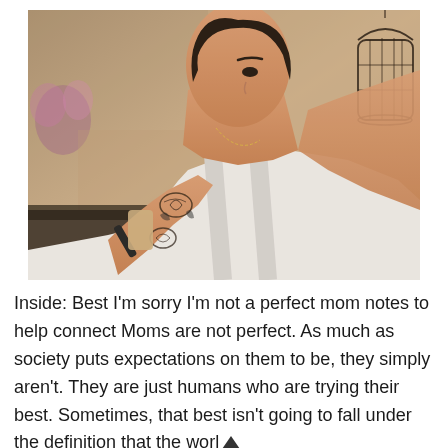[Figure (photo): A woman with short dark hair and tattoos on her arm and shoulder, wearing a white tank top, leaning forward and looking at something in her hand (appears to be a phone). She has visible tattoos including a birdcage on her right shoulder and floral designs on her left arm. Background shows a blurred indoor setting with flowers.]
Inside: Best I'm sorry I'm not a perfect mom notes to help connect Moms are not perfect. As much as society puts expectations on them to be, they simply aren't. They are just humans who are trying their best. Sometimes, that best isn't going to fall under the definition that the worl